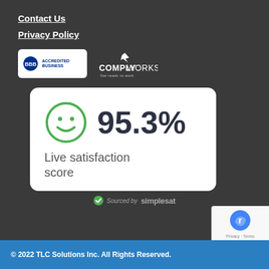Contact Us
Privacy Policy
[Figure (logo): BBB Accredited Business badge and ComplyWorks Get ready to work logo]
[Figure (infographic): Satisfaction score card showing 95.3% live satisfaction score with a green smiley face icon]
Sourced by simplesat
[Figure (logo): reCAPTCHA badge with Privacy and Terms links]
© 2022 TLC Solutions Inc. All Rights Reserved.